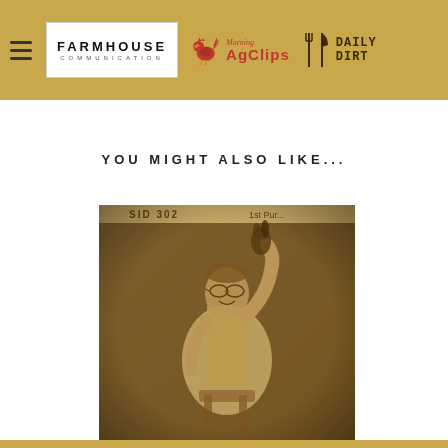Farmhouse Communication | Morning AgClips | Daily Dirt
YOU MIGHT ALSO LIKE...
[Figure (photo): Vintage sepia-toned photograph of a person holding up what appears to be a rabbit or small animal, raising one arm, smiling, with a sign partially visible at the top reading partial text.]